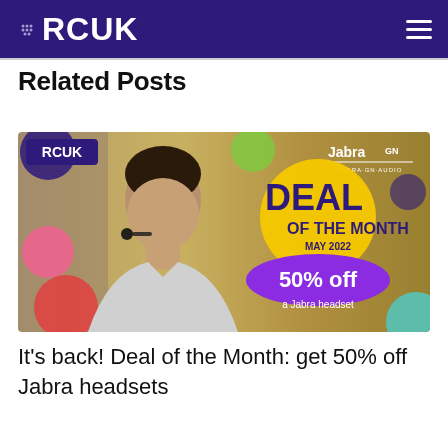RCUK
Related Posts
[Figure (illustration): RCUK and Jabra GN promotional banner showing a man wearing a Jabra Bluetooth headset with text 'DEAL OF THE MONTH MAY 2022 50% off a Jabra headset' on a gold/green/purple background with colorful circle decorations]
It's back! Deal of the Month: get 50% off Jabra headsets